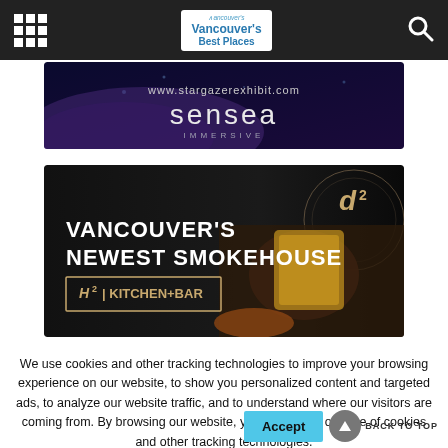Vancouver's Best Places navigation bar with grid menu and search icons
[Figure (illustration): Sensea Immersive advertisement banner showing www.stargazerexhibit.com and 'sensea IMMERSIVE' branding on dark background]
[Figure (illustration): H2 Kitchen+Bar advertisement banner: 'VANCOUVER'S NEWEST SMOKEHOUSE' with food imagery and H2 logo on black background]
We use cookies and other tracking technologies to improve your browsing experience on our website, to show you personalized content and targeted ads, to analyze our website traffic, and to understand where our visitors are coming from. By browsing our website, you consent to our use of cookies and other tracking technologies.
Accept